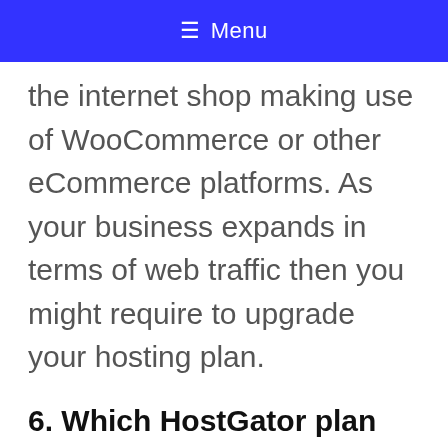≡ Menu
the internet shop making use of WooCommerce or other eCommerce platforms. As your business expands in terms of web traffic then you might require to upgrade your hosting plan.
6. Which HostGator plan do I need?
If you just wish to begin a single site or blog site, after that you can start with their Hatchling strategy. We recommend beginning with the baby strategy as it